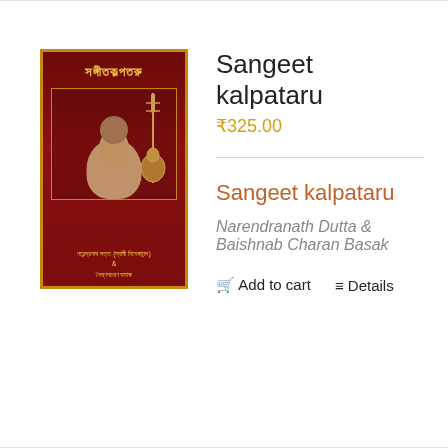[Figure (illustration): Book cover of 'Sangeet kalpataru' with red background, Bengali text title in gold, a sitar instrument, and a portrait of a person. Bengali author names at the bottom.]
Sangeet kalpataru
₹325.00
Sangeet kalpataru
Narendranath Dutta & Baishnab Charan Basak
Add to cart   Details